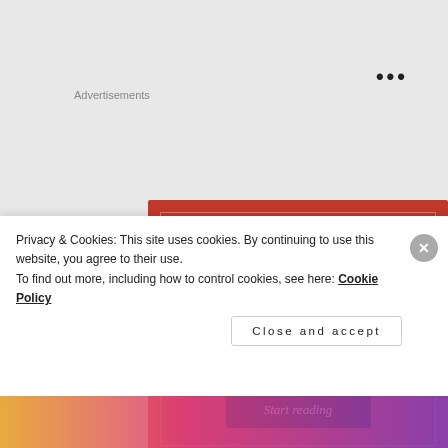•••
Advertisements
[Figure (illustration): Longreads advertisement banner with red background. Shows Longreads logo (L in circle), tagline 'The best stories on the web – ours, and everyone else's.' and a black 'Start reading' button.]
Privacy & Cookies: This site uses cookies. By continuing to use this website, you agree to their use.
To find out more, including how to control cookies, see here: Cookie Policy
Close and accept